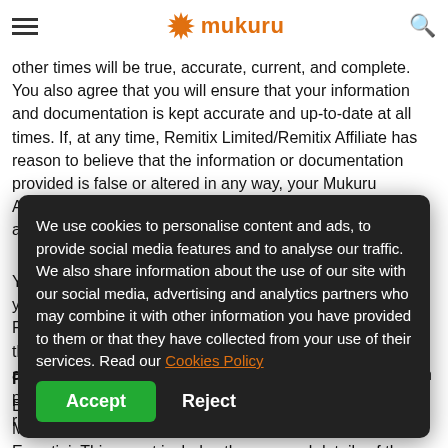Mukuru
other times will be true, accurate, current, and complete. You also agree that you will ensure that your information and documentation is kept accurate and up-to-date at all times. If, at any time, Remitix Limited/Remitix Affiliate has reason to believe that the information or documentation provided is false or altered in any way, your Mukuru Account will be closed immediately and the relevant authority notified.
You acknowledge that the EFIO may, at any time, request your personal data, information and documentation from Remitix Limited. In terms of AFTP, as and when directed, Remitix Limited/Remitix Affiliate, which ever is applicable, is obliged to and will provide the EFIU with such personal data, information and documentation upon request.
Reporting to Bank of Eswatini
Every transaction successfully completed via the Mukuru Money Transfer Service must be reported to the Bank of Eswatini. This report includes the personal details of the Sender and the Recipient and the details of the completed Remittance Transaction (order, payment, pay-out).
We use cookies to personalise content and ads, to provide social media features and to analyse our traffic. We also share information about the use of our site with our social media, advertising and analytics partners who may combine it with other information you have provided to them or that they have collected from your use of their services. Read our Cookies Policy